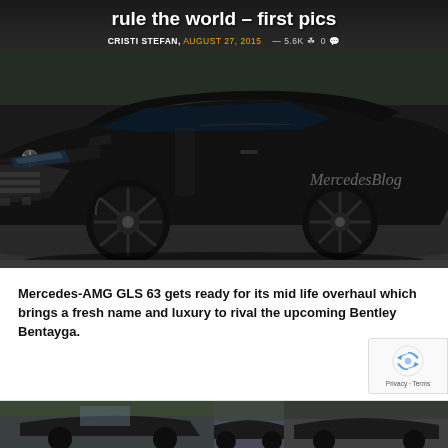[Figure (photo): Hero image of a black Mercedes-AMG GLS 63 SUV spy shot, photographed from the front-left angle on a road, with MercedesBlog watermark visible]
rule the world – first pics
CRISTI STEFAN, AUGUST 27, 2015 — 5.6K 👁 0 💬
Mercedes-AMG GLS 63 gets ready for its mid life overhaul which brings a fresh name and luxury to rival the upcoming Bentley Bentayga.
[Figure (photo): Bottom strip showing two thumbnail images of the Mercedes-AMG GLS 63 spy shots]